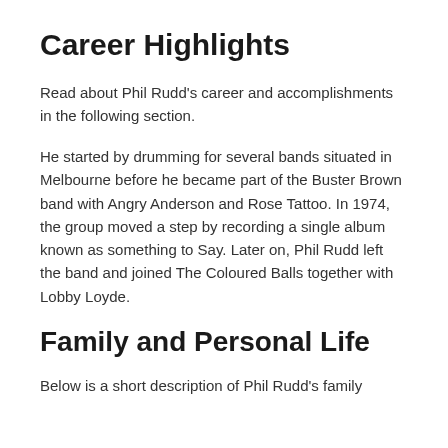Career Highlights
Read about Phil Rudd's career and accomplishments in the following section.
He started by drumming for several bands situated in Melbourne before he became part of the Buster Brown band with Angry Anderson and Rose Tattoo. In 1974, the group moved a step by recording a single album known as something to Say. Later on, Phil Rudd left the band and joined The Coloured Balls together with Lobby Loyde.
Family and Personal Life
Below is a short description of Phil Rudd's family